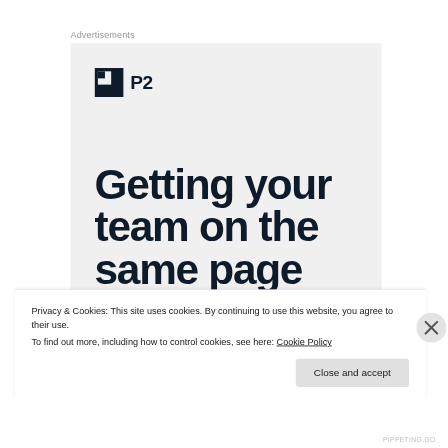Advertisements
[Figure (logo): P2 logo with dark square icon and bold P2 text on light gray advertisement background, with large bold headline text 'Getting your team on the same page' partially visible]
Privacy & Cookies: This site uses cookies. By continuing to use this website, you agree to their use.
To find out more, including how to control cookies, see here: Cookie Policy
Close and accept